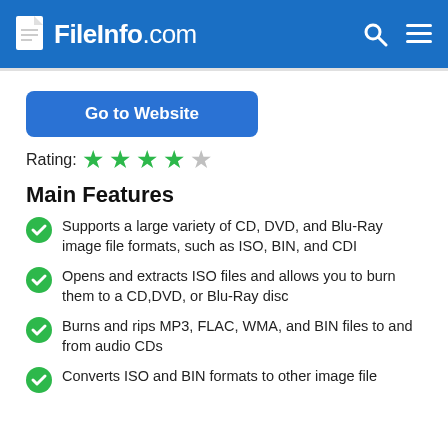FileInfo.com
[Figure (other): Go to Website button — blue rounded rectangle]
Rating: ★★★★☆
Main Features
Supports a large variety of CD, DVD, and Blu-Ray image file formats, such as ISO, BIN, and CDI
Opens and extracts ISO files and allows you to burn them to a CD,DVD, or Blu-Ray disc
Burns and rips MP3, FLAC, WMA, and BIN files to and from audio CDs
Converts ISO and BIN formats to other image file